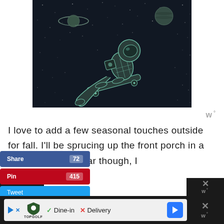[Figure (illustration): Illustration of an astronaut floating/skateboarding in outer space on a dark navy background with stars, Saturn-like planet, and another planet visible]
w°
I love to add a few seasonal touches outside for fall. I'll be sprucing up the front porch in a few days.  This year though, I
[Figure (screenshot): Social media share buttons: Share 72 (blue/Facebook), Pin 415 (red/Pinterest), Tweet (light blue/Twitter)]
[Figure (screenshot): Advertisement bar at bottom: TopGolf ad with Dine-in checkmark and Delivery X, blue navigation arrow button, and dark right panel with X close button and w° logo]